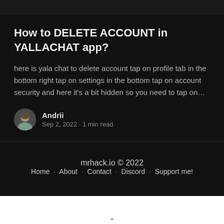How to DELETE ACCOUNT in YALLACHAT app?
here is yala chat to delete account tap on profile tab in the bottom right tap on settings in the bottom tap on account security and here it's a bit hidden so you need to tap on…
Andrii
Sep 2, 2022 · 1 min read
mrhack.io © 2022
Home · About · Contact · Discord · Support me!